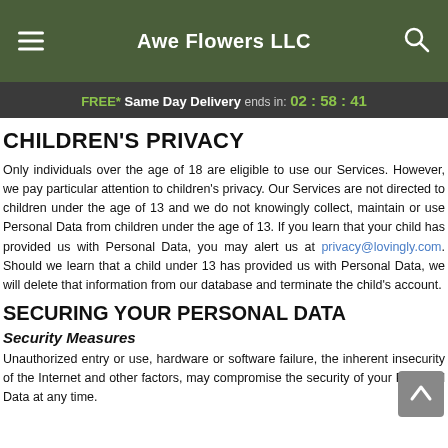Awe Flowers LLC
FREE* Same Day Delivery ends in: 02 : 58 : 41
CHILDREN'S PRIVACY
Only individuals over the age of 18 are eligible to use our Services. However, we pay particular attention to children's privacy. Our Services are not directed to children under the age of 13 and we do not knowingly collect, maintain or use Personal Data from children under the age of 13. If you learn that your child has provided us with Personal Data, you may alert us at privacy@lovingly.com. Should we learn that a child under 13 has provided us with Personal Data, we will delete that information from our database and terminate the child's account.
SECURING YOUR PERSONAL DATA
Security Measures
Unauthorized entry or use, hardware or software failure, the inherent insecurity of the Internet and other factors, may compromise the security of your Personal Data at any time.